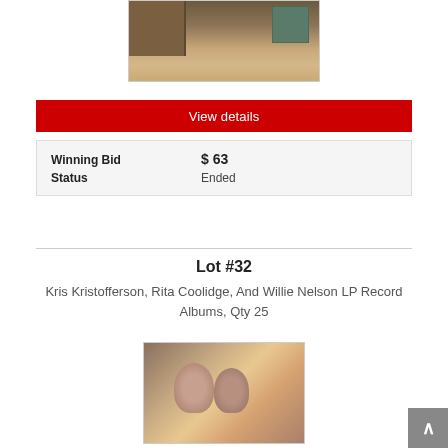[Figure (photo): Partial photo of furniture items on carpet, appears to be top portion of auction lot image]
View details
| Winning Bid | $ 63 |
| Status | Ended |
Lot #32
Kris Kristofferson, Rita Coolidge, And Willie Nelson LP Record Albums, Qty 25
[Figure (photo): Photo of LP record album covers featuring two people on the cover, partially visible]